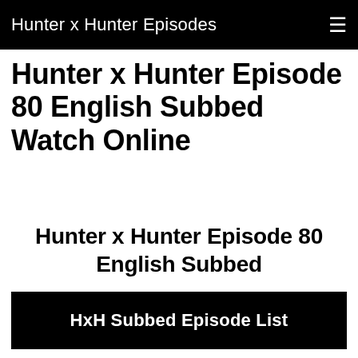Hunter x Hunter Episodes
Hunter x Hunter Episode 80 English Subbed Watch Online
Hunter x Hunter Episode 80 English Subbed
HxH Subbed Episode List